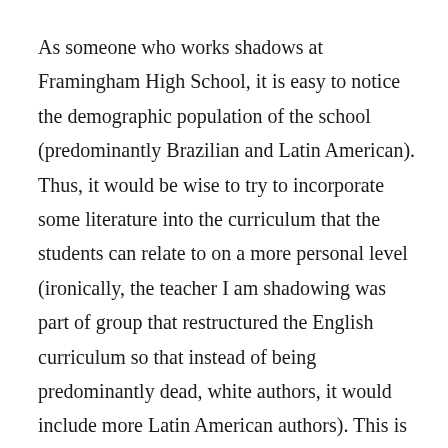As someone who works shadows at Framingham High School, it is easy to notice the demographic population of the school (predominantly Brazilian and Latin American). Thus, it would be wise to try to incorporate some literature into the curriculum that the students can relate to on a more personal level (ironically, the teacher I am shadowing was part of group that restructured the English curriculum so that instead of being predominantly dead, white authors, it would include more Latin American authors). This is one step, but another one is to try to incorporate a mix of surveys and classroom discussions on these kind of topics to give everyone a safe platform where they can voice their thoughts.